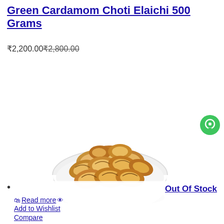Green Cardamom Choti Elaichi 500 Grams
₹2,200.00 ₹2,800.00
[Figure (photo): A white ceramic bowl filled with walnut kernels, product photo on white background]
Out Of Stock
Read more
Add to Wishlist
Compare